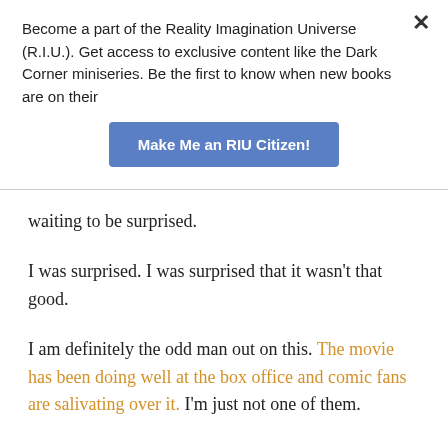Become a part of the Reality Imagination Universe (R.I.U.). Get access to exclusive content like the Dark Corner miniseries. Be the first to know when new books are on their
Make Me an RIU Citizen!
waiting to be surprised.
I was surprised. I was surprised that it wasn't that good.
I am definitely the odd man out on this. The movie has been doing well at the box office and comic fans are salivating over it. I'm just not one of them.